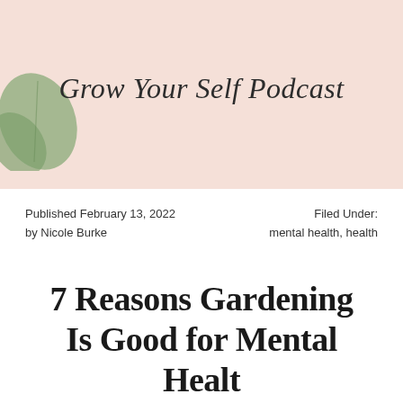[Figure (illustration): Banner with peach/blush pink background and green leaves on the left side, serving as a decorative header for the Grow Your Self Podcast]
Grow Your Self Podcast
Published February 13, 2022
by Nicole Burke
Filed Under:
mental health, health
7 Reasons Gardening Is Good for Mental Health